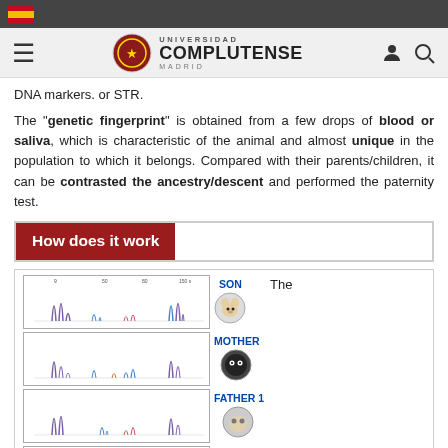Universidad Complutense Madrid
DNA markers. or STR.
The "genetic fingerprint" is obtained from a few drops of blood or saliva, which is characteristic of the animal and almost unique in the population to which it belongs. Compared with their parents/children, it can be contrasted the ancestry/descent and performed the paternity test.
How does it work
[Figure (illustration): Four DNA electropherogram traces labeled SON, MOTHER, FATHER 1, FATHER 2, each showing peaks at various positions along a chromosome region. Each row has a chromatogram trace on the left and a circular animal photo icon on the right.]
The